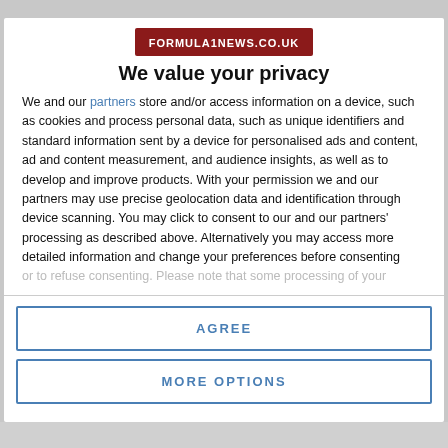[Figure (logo): formulainews.co.uk logo — white text on dark red/maroon background rectangle]
We value your privacy
We and our partners store and/or access information on a device, such as cookies and process personal data, such as unique identifiers and standard information sent by a device for personalised ads and content, ad and content measurement, and audience insights, as well as to develop and improve products. With your permission we and our partners may use precise geolocation data and identification through device scanning. You may click to consent to our and our partners' processing as described above. Alternatively you may access more detailed information and change your preferences before consenting or to refuse consenting. Please note that some processing of your
AGREE
MORE OPTIONS